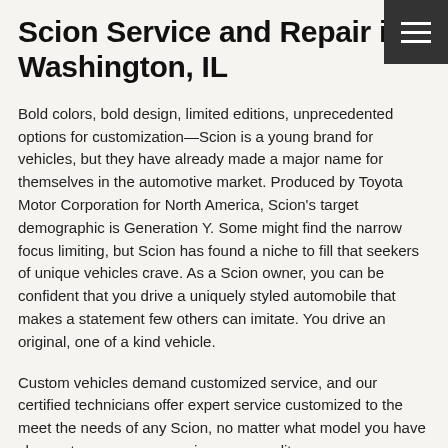[Figure (other): Hamburger menu icon: three horizontal white lines on a dark gray/black square background, positioned in top-right corner]
Scion Service and Repair in Washington, IL
Bold colors, bold design, limited editions, unprecedented options for customization—Scion is a young brand for vehicles, but they have already made a major name for themselves in the automotive market. Produced by Toyota Motor Corporation for North America, Scion's target demographic is Generation Y. Some might find the narrow focus limiting, but Scion has found a niche to fill that seekers of unique vehicles crave. As a Scion owner, you can be confident that you drive a uniquely styled automobile that makes a statement few others can imitate. You drive an original, one of a kind vehicle.
Custom vehicles demand customized service, and our certified technicians offer expert service customized to the meet the needs of any Scion, no matter what model you have chosen to express your unique personality.